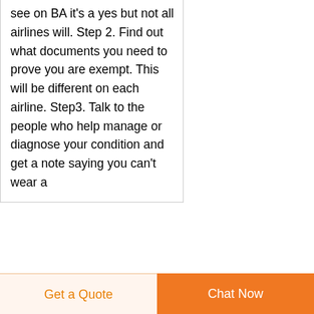see on BA it's a yes but not all airlines will. Step 2. Find out what documents you need to prove you are exempt. This will be different on each airline. Step3. Talk to the people who help manage or diagnose your condition and get a note saying you can't wear a
[Figure (other): Dark navy circular scroll-to-top button with upward arrow icon]
It s Time to Face Facts America Masks Work WIRED
Mar 20 2020. The two most
Get a Quote
Chat Now